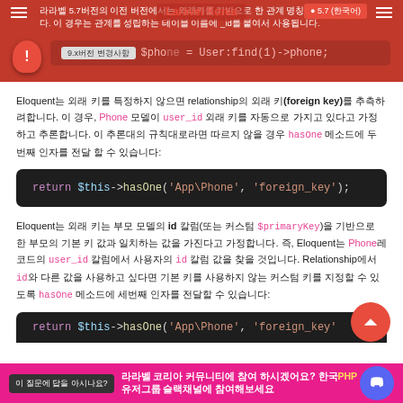라라벨 5.7버전의 이전 버전에서는 외래키를 기반으로 한 관계 명칭으로 추론합니다. 이 경우는 관계를 성립하는 테이블 이름에 _id를 붙여서 사용됩니다.
[Figure (screenshot): Code snippet showing $phone = User::find(1)->phone; with version tag 9.x버전 변경사항]
Eloquent는 외래 키를 특정하지 않으면 relationship의 외래 키(foreign key)를 추측하려합니다. 이 경우, Phone 모델이 user_id 외래 키를 자동으로 가지고 있다고 가정하고 추론합니다. 이 추론대의 규칙을 따르지 않을 경우 hasOne 메소드의 두번째 인자를 전달 할 수 있습니다:
[Figure (screenshot): Code block: return $this->hasOne('App\Phone', 'foreign_key');]
Eloquent는 외래 키는 부모 모델의 id 칼럼(또는 커스텀 $primaryKey)을 기반으로 한 부모의 기본 키 값과 일치하는 값을 가진다고 가정합니다. 즉, Eloquent는 Phone레코드의 user_id 칼럼에서 사용자의 id 컬럼 값을 찾을 것입니다. Relationship에서 id와 다른 값을 사용하고 싶다면 기본 키를 사용하지 않는 커스텀 키를 지정할 수 있도록 hasOne 메소드에 세번째 인자를 전달할 수 있습니다:
[Figure (screenshot): Partial code block: return $this->hasOne('App\Phone', 'foreign_key...]
라라벨 코리아 커뮤니티에 참여 하시겠어요? 한국PHP유저그룹 슬랙채널에 참여해보세요